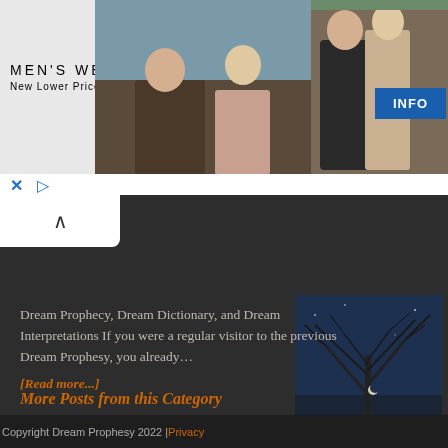[Figure (photo): Men's Wearhouse advertisement banner with couple in formal wear and man in suit, with INFO button]
× ▷
[Figure (photo): Night sky photo with tree branches silhouetted against dark blue sky with moon visible]
Dream Prophecy, Dream Dictionary, and Dream Interpretations If you were a regular visitor to the previous Dream Prophesy, you already… [Read more...]
More Posts from this Category
Copyright Dream Prophesy 2022 | Privacy